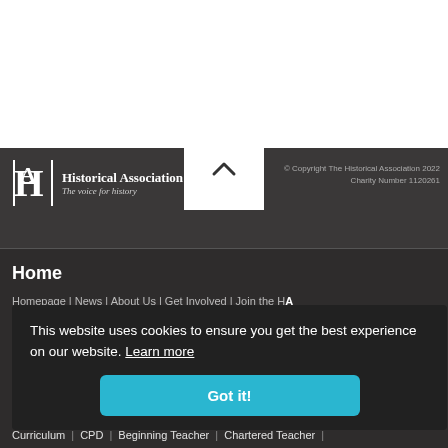[Figure (logo): Historical Association logo with stylized HA letters and text 'Historical Association - The voice for history']
© Copyright The Historical Association 2022
Charity Number 1120261
Home
Homepage | News | About Us | Get Involved | Join the HA
This website uses cookies to ensure you get the best experience on our website. Learn more
Got it!
Curriculum | CPD | Beginning Teacher | Chartered Teacher |